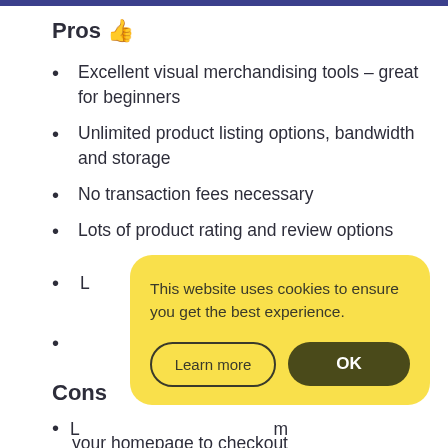Pros 👍
Excellent visual merchandising tools – great for beginners
Unlimited product listing options, bandwidth and storage
No transaction fees necessary
Lots of product rating and review options
Cons
This website uses cookies to ensure you get the best experience.